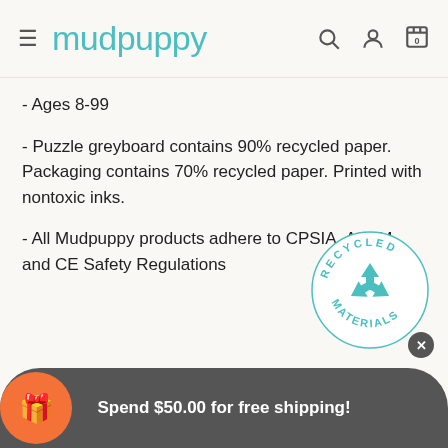mudpuppy
- Ages 8-99
- Puzzle greyboard contains 90% recycled paper. Packaging contains 70% recycled paper. Printed with nontoxic inks.
- All Mudpuppy products adhere to CPSIA, ASTM, and CE Safety Regulations
[Figure (logo): Recycled Materials circular badge with teal recycling arrows icon and text 'RECYCLED MATERIALS' around the border]
Spend $50.00 for free shipping!